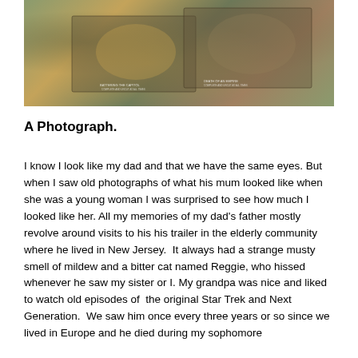[Figure (photo): Photograph of two old book or puzzle boxes with illustrated covers showing jungle/war scenes, placed on a light surface. Text on boxes reads 'BATTERING THE CAPITOL' and 'DEATH OF AN EMPIRE' or similar captions.]
A Photograph.
I know I look like my dad and that we have the same eyes. But when I saw old photographs of what his mum looked like when she was a young woman I was surprised to see how much I looked like her. All my memories of my dad's father mostly revolve around visits to his his trailer in the elderly community where he lived in New Jersey.  It always had a strange musty smell of mildew and a bitter cat named Reggie, who hissed whenever he saw my sister or I. My grandpa was nice and liked to watch old episodes of  the original Star Trek and Next Generation.  We saw him once every three years or so since we lived in Europe and he died during my sophomore